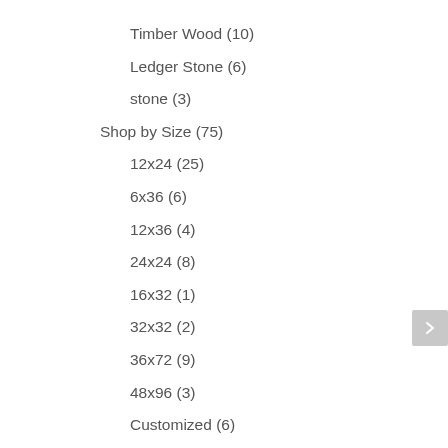Timber Wood (10)
Ledger Stone (6)
stone (3)
Shop by Size (75)
12x24 (25)
6x36 (6)
12x36 (4)
24x24 (8)
16x32 (1)
32x32 (2)
36x72 (9)
48x96 (3)
Customized (6)
24x48 (2)
63×126 (2)